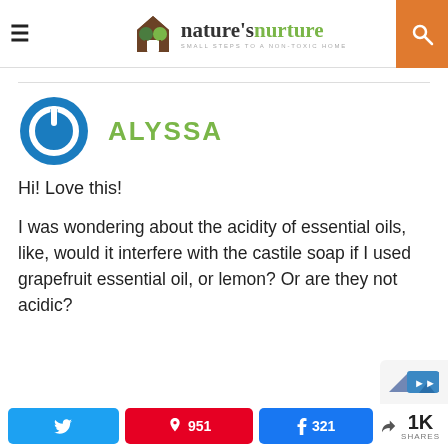nature's nurture — SMALL STEPS TO A NON-TOXIC HOME
[Figure (illustration): Blue circular power/user avatar icon]
ALYSSA
Hi! Love this!
I was wondering about the acidity of essential oils, like, would it interfere with the castile soap if I used grapefruit essential oil, or lemon? Or are they not acidic?